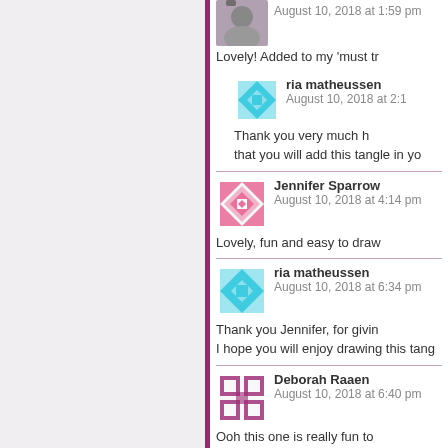August 10, 2018 at 1:59 pm
Lovely! Added to my 'must tr
ria matheussen
August 10, 2018 at 2:1
Thank you very much h that you will add this tangle in yo
Jennifer Sparrow
August 10, 2018 at 4:14 pm
Lovely, fun and easy to draw
ria matheussen
August 10, 2018 at 6:34 pm
Thank you Jennifer, for givin I hope you will enjoy drawing this tang
Deborah Raaen
August 10, 2018 at 6:40 pm
Ooh this one is really fun to